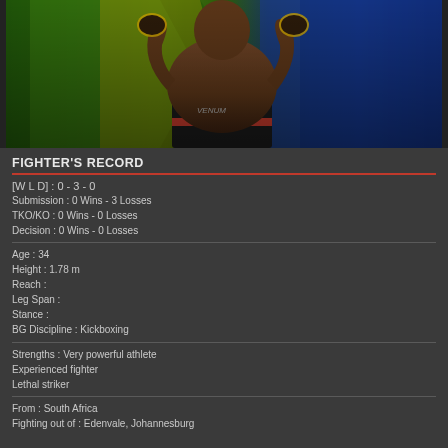[Figure (photo): MMA fighter posing with fists raised, wearing Venum shorts with red stripe, Brazilian/South African flags in background]
FIGHTER'S RECORD
[W L D] : 0 - 3 - 0
Submission : 0 Wins - 3 Losses
TKO/KO : 0 Wins - 0 Losses
Decision : 0 Wins - 0 Losses
Age : 34
Height : 1.78 m
Reach :
Leg Span :
Stance :
BG Discipline : Kickboxing
Strengths : Very powerful athlete
Experienced fighter
Lethal striker
From : South Africa
Fighting out of : Edenvale, Johannesburg